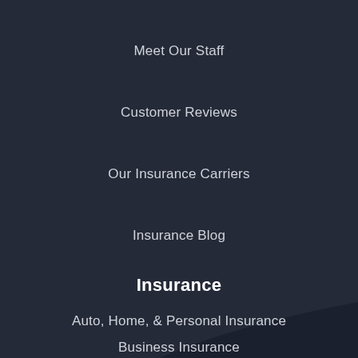Meet Our Staff
Customer Reviews
Our Insurance Carriers
Insurance Blog
Insurance
Auto, Home, & Personal Insurance
Business Insurance